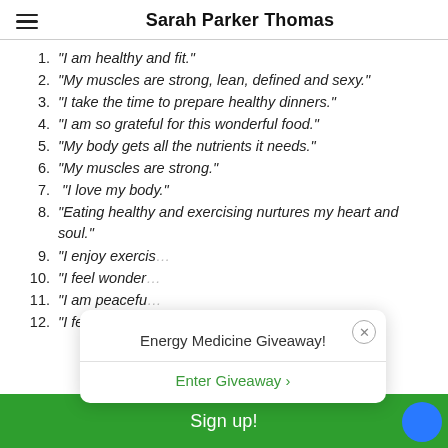Sarah Parker Thomas
"I am healthy and fit."
"My muscles are strong, lean, defined and sexy."
"I take the time to prepare healthy dinners."
"I am so grateful for this wonderful food."
"My body gets all the nutrients it needs."
"My muscles are strong."
"I love my body."
"Eating healthy and exercising nurtures my heart and soul."
"I enjoy exercis..."
"I feel wonder..."
"I am peacefu..."
"I feel good ab..."
[Figure (screenshot): Popup overlay with title 'Energy Medicine Giveaway!' and a green 'Enter Giveaway >' link, with a close button (X) in top right corner.]
Sign up!